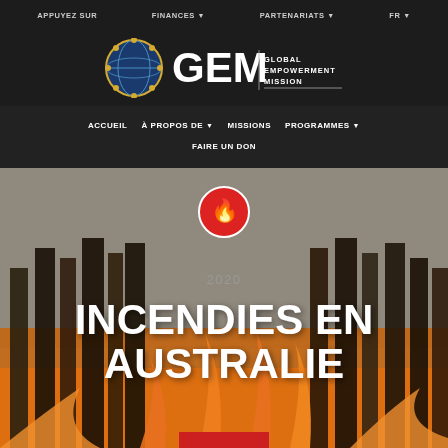APPUYEZ SUR   FINANCES ▾   PARTENARIATS ▾   FR ▾
[Figure (logo): GEM - Global Empowerment Mission logo with globe icon]
ACCUEIL   À PROPOS DE ▾   MISSIONS   PROGRAMMES ▾   FAIRE UN DON
[Figure (photo): Wildfire background photo showing burning forest trees with orange flames and smoke]
[Figure (logo): Red circle fire/wildfire icon]
2020
INCENDIES EN AUSTRALIE